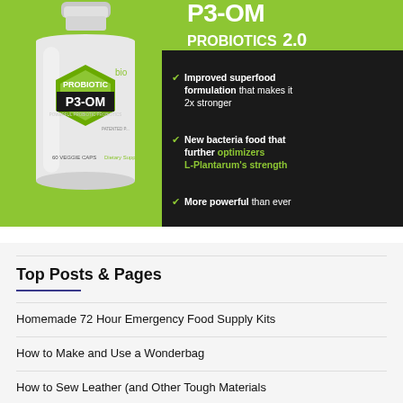[Figure (photo): P3-OM Probiotics 2.0 product advertisement showing a white supplement bottle with green hexagon label on the left side, and dark panel on the right with bullet points listing: Improved superfood formulation that makes it 2x stronger; New bacteria food that further optimizers L-Plantarum's strength; More powerful than ever. Green and dark background.]
Top Posts & Pages
Homemade 72 Hour Emergency Food Supply Kits
How to Make and Use a Wonderbag
How to Sew Leather (and Other Tough Materials